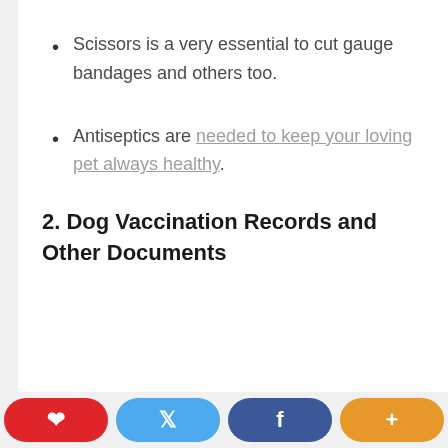Scissors is a very essential to cut gauge bandages and others too.
Antiseptics are needed to keep your loving pet always healthy.
2. Dog Vaccination Records and Other Documents
Pinterest | Twitter | Facebook | More